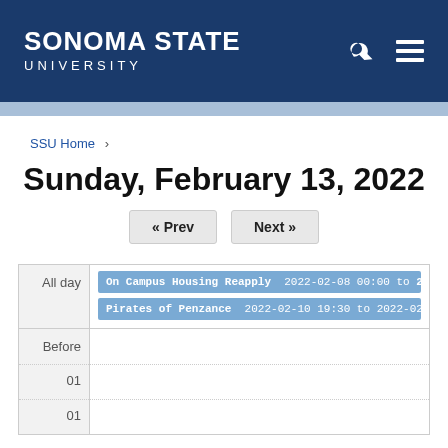SONOMA STATE UNIVERSITY
SSU Home
Sunday, February 13, 2022
| Time | Events |
| --- | --- |
| All day | On Campus Housing Reapply 2022-02-08 00:00 to 2022-02-17 23:45 | Pirates of Penzance 2022-02-10 19:30 to 2022-02-20 23:00 |
| Before |  |
| 01 |  |
| 01 |  |